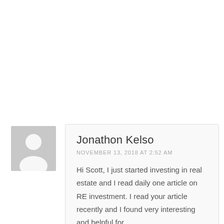[Figure (illustration): Gray square avatar placeholder with a white silhouette of a generic person (head and shoulders)]
Jonathon Kelso
NOVEMBER 13, 2018 AT 2:52 AM
Hi Scott, I just started investing in real estate and I read daily one article on RE investment. I read your article recently and I found very interesting and helpful for